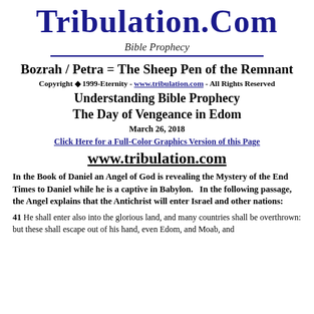Tribulation.Com
Bible Prophecy
Bozrah / Petra = The Sheep Pen of the Remnant
Copyright ◆ 1999-Eternity - www.tribulation.com - All Rights Reserved
Understanding Bible Prophecy
The Day of Vengeance in Edom
March 26, 2018
Click Here for a Full-Color Graphics Version of this Page
www.tribulation.com
In the Book of Daniel an Angel of God is revealing the Mystery of the End Times to Daniel while he is a captive in Babylon.   In the following passage, the Angel explains that the Antichrist will enter Israel and other nations:
41 He shall enter also into the glorious land, and many countries shall be overthrown: but these shall escape out of his hand, even Edom, and Moab, and